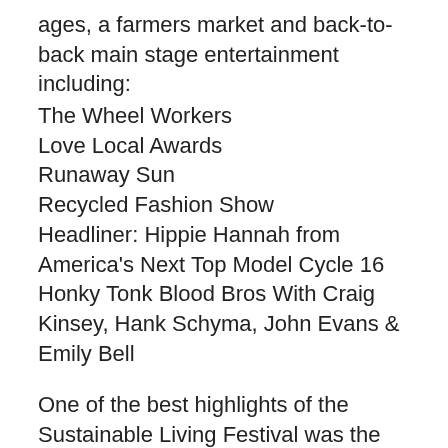ages, a farmers market and back-to-back main stage entertainment including:
The Wheel Workers
Love Local Awards
Runaway Sun
Recycled Fashion Show
Headliner: Hippie Hannah from America's Next Top Model Cycle 16
Honky Tonk Blood Bros With Craig Kinsey, Hank Schyma, John Evans & Emily Bell
One of the best highlights of the Sustainable Living Festival was the recycled fashion show, that was hosted by my friend, and fellow blogger Ahshia Berry of Events and Lagniappe Boutiques that showcased their vintage and up-cycled fashions were: Beatniks, Fashion Plate Lifestyle, and Hello-Lucky. The handbags were provided by Jocas